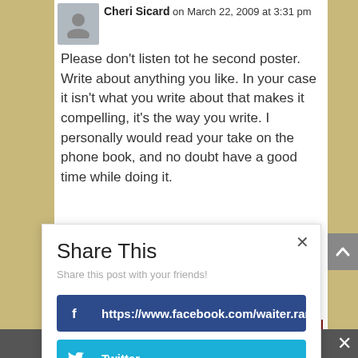Cheri Sicard on March 22, 2009 at 3:31 pm
Please don't listen tot he second poster. Write about anything you like. In your case it isn't what you write about that makes it compelling, it's the way you write. I personally would read your take on the phone book, and no doubt have a good time while doing it.
Reply
Share This
Share this post with your friends!
https://www.facebook.com/waiter.rant
Twitter